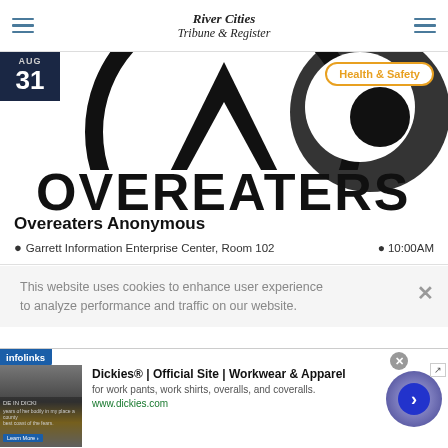River Cities Tribune & Register
[Figure (other): Overeaters Anonymous logo — large black and white graphic with OA symbol and text OVEREATERS partially visible. Date badge showing AUG 31 in dark navy. Health & Safety category badge in orange.]
Overeaters Anonymous
Garrett Information Enterprise Center, Room 102   10:00AM
This website uses cookies to enhance user experience to analyze performance and traffic on our website.
[Figure (screenshot): Dickies advertisement banner — Dickies® | Official Site | Workwear & Apparel. for work pants, work shirts, overalls, and coveralls. www.dickies.com]